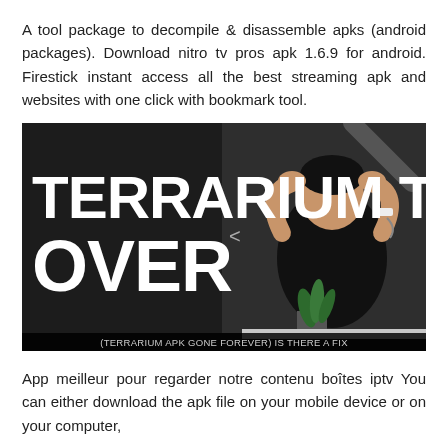A tool package to decompile & disassemble apks (android packages). Download nitro tv pros apk 1.6.9 for android. Firestick instant access all the best streaming apk and websites with one click with bookmark tool.
[Figure (photo): Thumbnail image showing text 'TERRARIUM TV OVER' in large white bold letters on dark background, with a man holding his head in his hands on the right side. Subtitle reads: (TERRARIUM APK GONE FOREVER) IS THERE A FIX]
App meilleur pour regarder notre contenu boîtes iptv You can either download the apk file on your mobile device or on your computer,